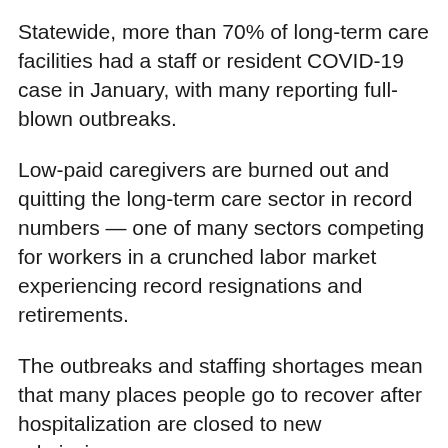Statewide, more than 70% of long-term care facilities had a staff or resident COVID-19 case in January, with many reporting full-blown outbreaks.
Low-paid caregivers are burned out and quitting the long-term care sector in record numbers — one of many sectors competing for workers in a crunched labor market experiencing record resignations and retirements.
The outbreaks and staffing shortages mean that many places people go to recover after hospitalization are closed to new admissions.
It's harder to find support too for patients who need assistance to return to their own homes